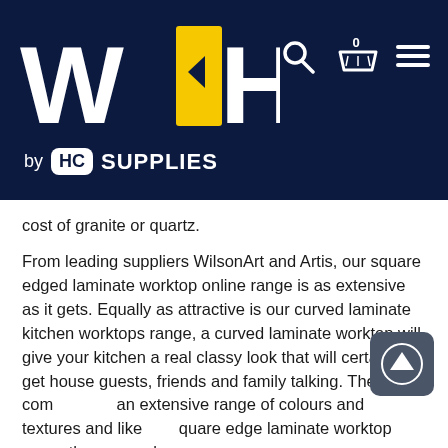[Figure (logo): WH by HC Supplies logo on dark navy background with search, cart (0), and hamburger menu icons]
cost of granite or quartz.
From leading suppliers WilsonArt and Artis, our square edged laminate worktop online range is as extensive as it gets. Equally as attractive is our curved laminate kitchen worktops range, a curved laminate worktop will give your kitchen a real classy look that will certainly get house guests, friends and family talking. The range comes an extensive range of colours and textures and like square edge laminate worktop range they ooze class.
Massimo Series 2 Quality Laminate